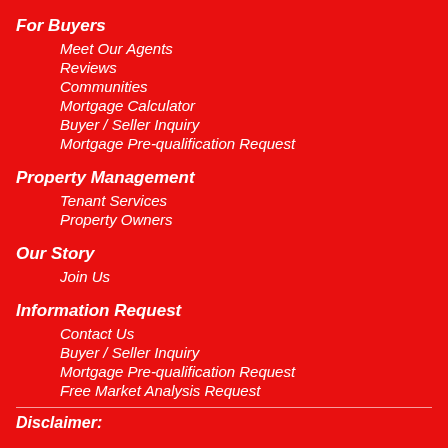For Buyers
Meet Our Agents
Reviews
Communities
Mortgage Calculator
Buyer / Seller Inquiry
Mortgage Pre-qualification Request
Property Management
Tenant Services
Property Owners
Our Story
Join Us
Information Request
Contact Us
Buyer / Seller Inquiry
Mortgage Pre-qualification Request
Free Market Analysis Request
Disclaimer: